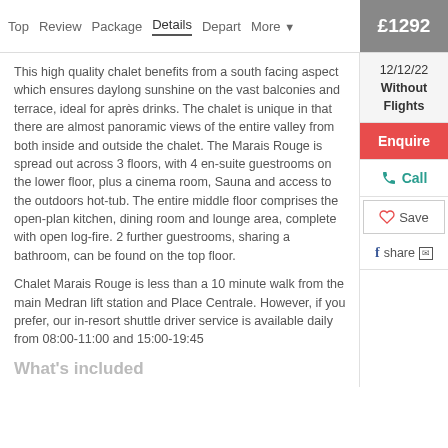Top  Review  Package  Details  Depart  More ▼  £1292
12/12/22 Without Flights
This high quality chalet benefits from a south facing aspect which ensures daylong sunshine on the vast balconies and terrace, ideal for après drinks. The chalet is unique in that there are almost panoramic views of the entire valley from both inside and outside the chalet. The Marais Rouge is spread out across 3 floors, with 4 en-suite guestrooms on the lower floor, plus a cinema room, Sauna and access to the outdoors hot-tub. The entire middle floor comprises the open-plan kitchen, dining room and lounge area, complete with open log-fire. 2 further guestrooms, sharing a bathroom, can be found on the top floor.
Chalet Marais Rouge is less than a 10 minute walk from the main Medran lift station and Place Centrale. However, if you prefer, our in-resort shuttle driver service is available daily from 08:00-11:00 and 15:00-19:45
What's included